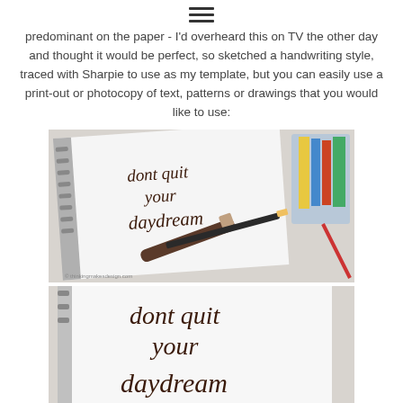≡
predominant on the paper - I'd overheard this on TV the other day and thought it would be perfect, so sketched a handwriting style, traced with Sharpie to use as my template, but you can easily use a print-out or photocopy of text, patterns or drawings that you would like to use:
[Figure (photo): A sketchbook with 'dont quit your daydream' written in cursive with Sharpie, alongside a pencil and marker on a white table, with art supplies in the background. Watermark: thinkingmakesdesign.com]
[Figure (photo): Close-up of a sketchbook with 'dont quit your daydream' written in cursive, cropped at the bottom.]